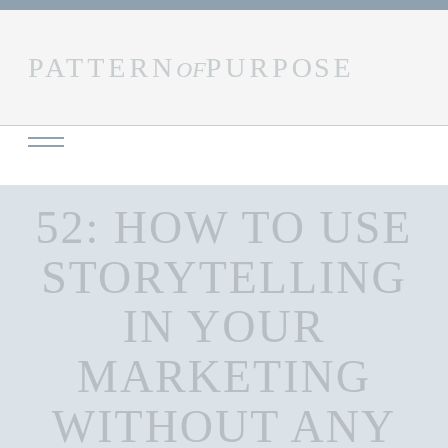PATTERN of PURPOSE
52: HOW TO USE STORYTELLING IN YOUR MARKETING WITHOUT ANY FRAMEWORK